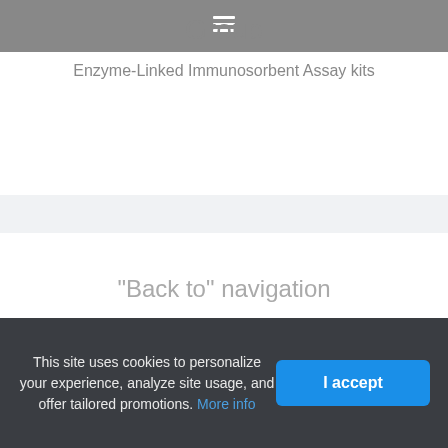Group
Enzyme-Linked Immunosorbent Assay kits
"Back to" navigation
Back to: Our Suppliers / abebio / ELISA test for Cat Beta-
This site uses cookies to personalize your experience, analyze site usage, and offer tailored promotions. More info
I accept